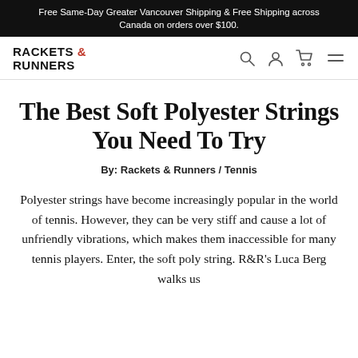Free Same-Day Greater Vancouver Shipping & Free Shipping across Canada on orders over $100.
[Figure (logo): Rackets & Runners logo in bold black text with red ampersand, plus navigation icons: search, user, cart, and menu]
The Best Soft Polyester Strings You Need To Try
By: Rackets & Runners / Tennis
Polyester strings have become increasingly popular in the world of tennis. However, they can be very stiff and cause a lot of unfriendly vibrations, which makes them inaccessible for many tennis players. Enter, the soft poly string. R&R's Luca Berg walks us